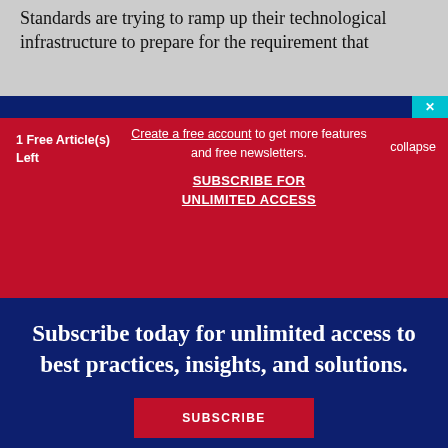Standards are trying to ramp up their technological infrastructure to prepare for the requirement that
1 Free Article(s) Left
Create a free account to get more features and free newsletters. SUBSCRIBE FOR UNLIMITED ACCESS
collapse
Subscribe today for unlimited access to best practices, insights, and solutions.
SUBSCRIBE